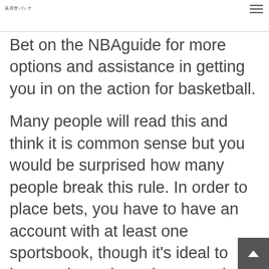美容室バンク
Bet on the NBAguide for more options and assistance in getting you in on the action for basketball.
Many people will read this and think it is common sense but you would be surprised how many people break this rule. In order to place bets, you have to have an account with at least one sportsbook, though it's ideal to have at least three, because then you can compare offerings and place smarter be